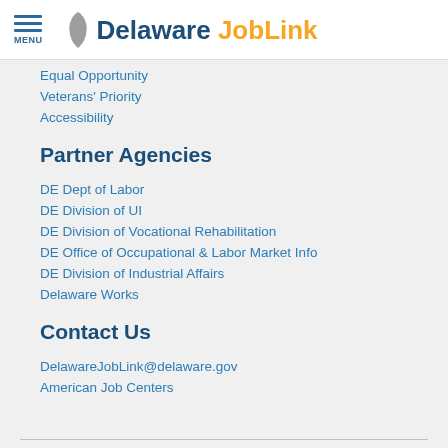Delaware JobLink
Equal Opportunity
Veterans' Priority
Accessibility
Partner Agencies
DE Dept of Labor
DE Division of UI
DE Division of Vocational Rehabilitation
DE Office of Occupational & Labor Market Info
DE Division of Industrial Affairs
Delaware Works
Contact Us
DelawareJobLink@delaware.gov
American Job Centers